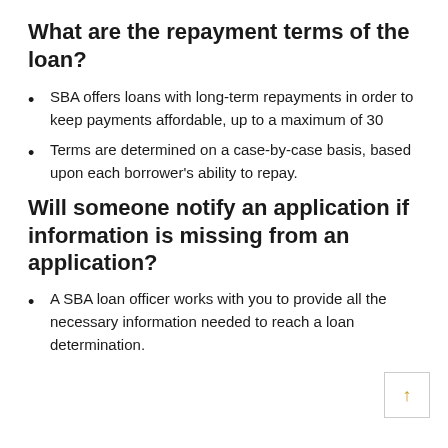What are the repayment terms of the loan?
SBA offers loans with long-term repayments in order to keep payments affordable, up to a maximum of 30
Terms are determined on a case-by-case basis, based upon each borrower's ability to repay.
Will someone notify an application if information is missing from an application?
A SBA loan officer works with you to provide all the necessary information needed to reach a loan determination.